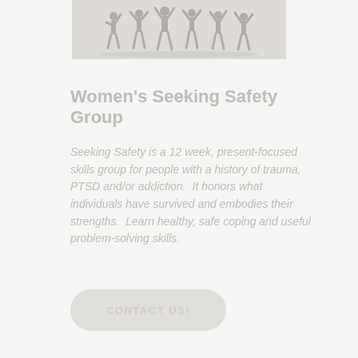[Figure (photo): Silhouettes of women with arms raised in celebration or joy, group photo illustration]
Women's Seeking Safety Group
Seeking Safety is a 12 week, present-focused skills group for people with a history of trauma, PTSD and/or addiction.  It honors what individuals have survived and embodies their strengths.  Learn healthy, safe coping and useful problem-solving skills.
CONTACT US!